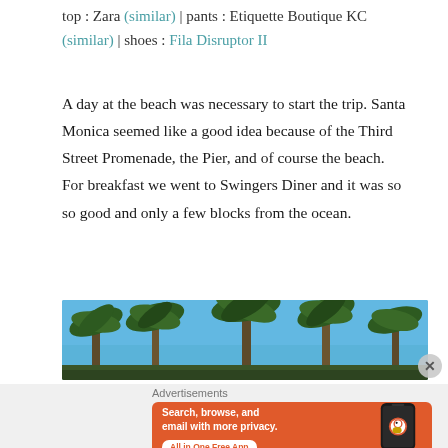top : Zara (similar) | pants : Etiquette Boutique KC (similar) | shoes : Fila Disruptor II
A day at the beach was necessary to start the trip. Santa Monica seemed like a good idea because of the Third Street Promenade, the Pier, and of course the beach. For breakfast we went to Swingers Diner and it was so so good and only a few blocks from the ocean.
[Figure (photo): Tall palm trees against a clear blue sky, photographed from below looking up, Santa Monica beach area]
Advertisements
[Figure (infographic): DuckDuckGo advertisement banner: Search, browse, and email with more privacy. All in One Free App. Orange background with phone mockup showing DuckDuckGo logo.]